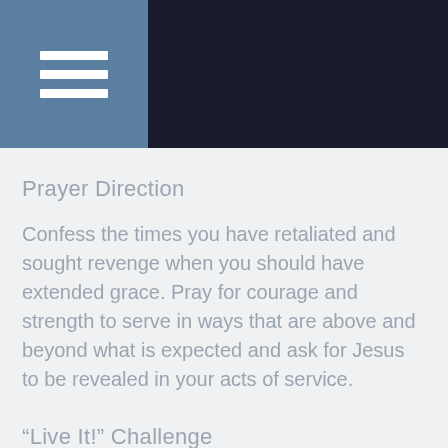[Figure (other): Dark navigation header bar with hamburger menu icon on a blue-grey square background]
Prayer Direction
Confess the times you have retaliated and sought revenge when you should have extended grace. Pray for courage and strength to serve in ways that are above and beyond what is expected and ask for Jesus to be revealed in your acts of service.
“Live It!” Challenge
Surprising Service: Identify one way you can serve someone in your home, school, workplace, or